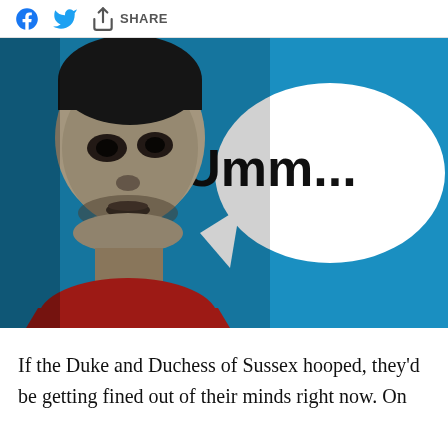f [Facebook] [Twitter] [Share] SHARE
[Figure (illustration): A black-and-white photo of a male basketball player (face close-up, wearing a red jersey) overlaid on a bright blue background with a large white speech bubble containing bold black text 'Umm...']
If the Duke and Duchess of Sussex hooped, they'd be getting fined out of their minds right now. On